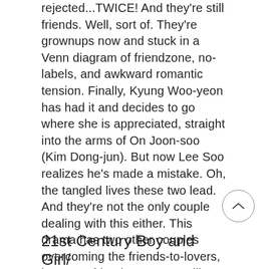rejected...TWICE! And they're still friends. Well, sort of. They're grownups now and stuck in a Venn diagram of friendzone, no-labels, and awkward romantic tension. Finally, Kyung Woo-yeon has had it and decides to go where she is appreciated, straight into the arms of On Joon-soo (Kim Dong-jun). But now Lee Soo realizes he's made a mistake. Oh, the tangled lives these two lead. And they're not the only couple dealing with this either. This drama has two other couples overcoming the friends-to-lovers, lovers-to-friends tropes. It's like the American sitcom Friends, but with less laughter and more bokeh.
21st Century Boy and Girl/